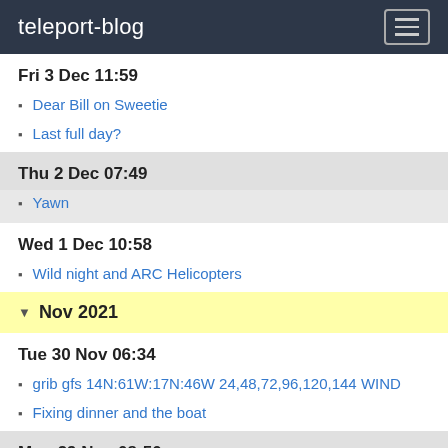teleport-blog
Fri 3 Dec 11:59
Dear Bill on Sweetie
Last full day?
Thu 2 Dec 07:49
Yawn
Wed 1 Dec 10:58
Wild night and ARC Helicopters
Nov 2021
Tue 30 Nov 06:34
grib gfs 14N:61W:17N:46W 24,48,72,96,120,144 WIND
Fixing dinner and the boat
Mon 29 Nov 08:50
Monday morning
Sun 28 Nov 08:19
Coleslaw recipe